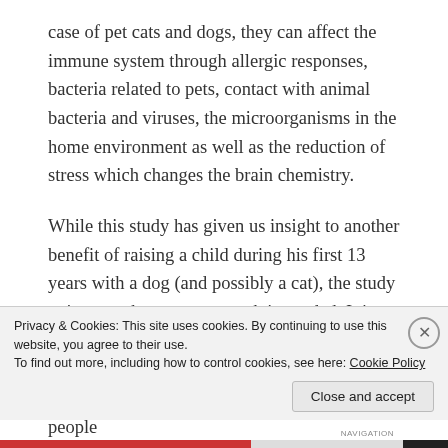case of pet cats and dogs, they can affect the immune system through allergic responses, bacteria related to pets, contact with animal bacteria and viruses, the microorganisms in the home environment as well as the reduction of stress which changes the brain chemistry.
While this study has given us insight to another benefit of raising a child during his first 13 years with a dog (and possibly a cat), the study points out that more research is needed. It is my hope that researchers will eventually be able to pinpoint the exact cause of this benefit and develop a way to use it to help many people.
Privacy & Cookies: This site uses cookies. By continuing to use this website, you agree to their use.
To find out more, including how to control cookies, see here: Cookie Policy
Close and accept